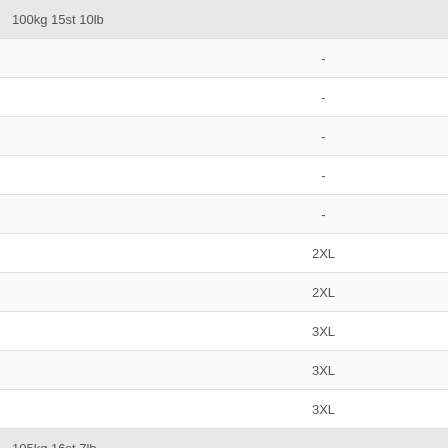| Weight | Size |
| --- | --- |
| 100kg 15st 10lb |  |
|  | - |
|  | - |
|  | - |
|  | - |
|  | - |
|  | 2XL |
|  | 2XL |
|  | 3XL |
|  | 3XL |
|  | 3XL |
| 105kg 16st 7lb |  |
|  | - |
|  | - |